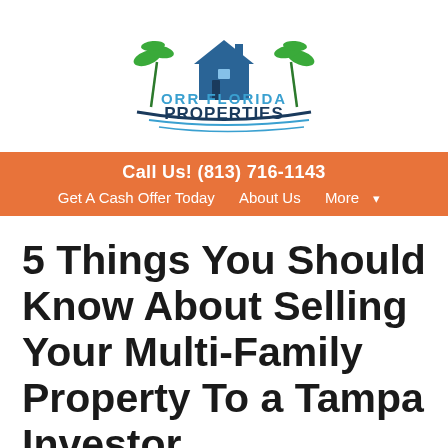[Figure (logo): Orr Florida Properties logo with house and palm trees graphic above the company name in blue text]
Call Us! (813) 716-1143
Get A Cash Offer Today   About Us   More ▾
5 Things You Should Know About Selling Your Multi-Family Property To a Tampa Investor